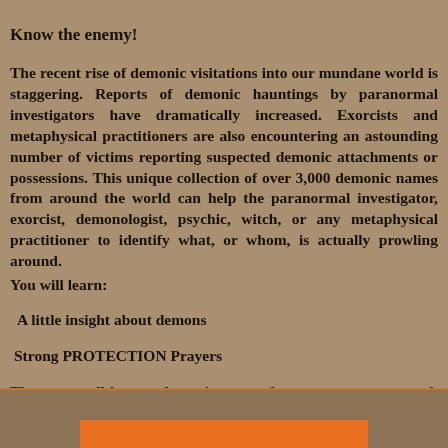Know the enemy!
The recent rise of demonic visitations into our mundane world is staggering. Reports of demonic hauntings by paranormal investigators have dramatically increased. Exorcists and metaphysical practitioners are also encountering an astounding number of victims reporting suspected demonic attachments or possessions. This unique collection of over 3,000 demonic names from around the world can help the paranormal investigator, exorcist, demonologist, psychic, witch, or any metaphysical practitioner to identify what, or whom, is actually prowling around.
You will learn:
A little insight about demons
Strong PROTECTION Prayers
The most well-known demonic names from expert sources such as King Solomon, Enoch, and esteemed authorities on the topic!